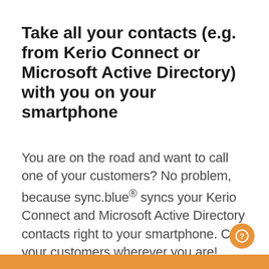Take all your contacts (e.g. from Kerio Connect or Microsoft Active Directory) with you on your smartphone
You are on the road and want to call one of your customers? No problem, because sync.blue® syncs your Kerio Connect and Microsoft Active Directory contacts right to your smartphone. Call your customers wherever you are!